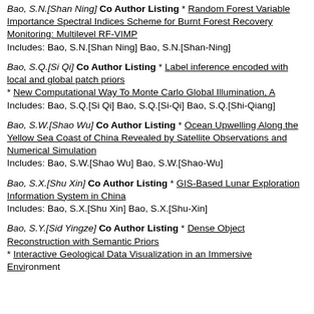Bao, S.N.[Shan Ning] Co Author Listing * Random Forest Variable Importance Spectral Indices Scheme for Burnt Forest Recovery Monitoring: Multilevel RF-VIMP
Includes: Bao, S.N.[Shan Ning] Bao, S.N.[Shan-Ning]
Bao, S.Q.[Si Qi] Co Author Listing * Label inference encoded with local and global patch priors
* New Computational Way To Monte Carlo Global Illumination, A
Includes: Bao, S.Q.[Si Qi] Bao, S.Q.[Si-Qi] Bao, S.Q.[Shi-Qiang]
Bao, S.W.[Shao Wu] Co Author Listing * Ocean Upwelling Along the Yellow Sea Coast of China Revealed by Satellite Observations and Numerical Simulation
Includes: Bao, S.W.[Shao Wu] Bao, S.W.[Shao-Wu]
Bao, S.X.[Shu Xin] Co Author Listing * GIS-Based Lunar Exploration Information System in China
Includes: Bao, S.X.[Shu Xin] Bao, S.X.[Shu-Xin]
Bao, S.Y.[Sid Yingze] Co Author Listing * Dense Object Reconstruction with Semantic Priors
* Interactive Geological Data Visualization in an Immersive Environment